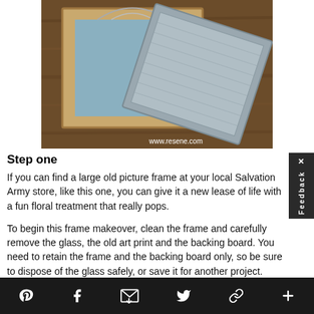[Figure (photo): Photo of a wooden picture frame and a separate grey matted backing board lying on a wooden surface. The frame is light pine coloured with a wire hanger, and the backing board is grey/silver. A watermark reads www.resene.com in the bottom right.]
Step one
If you can find a large old picture frame at your local Salvation Army store, like this one, you can give it a new lease of life with a fun floral treatment that really pops.
To begin this frame makeover, clean the frame and carefully remove the glass, the old art print and the backing board. You need to retain the frame and the backing board only, so be sure to dispose of the glass safely, or save it for another project.
Social share icons: Pinterest, Facebook, Email, Twitter, Link, Plus